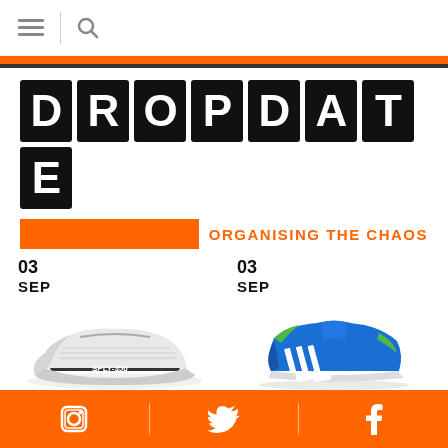[Figure (screenshot): Navigation bar with hamburger menu icon and search icon]
[Figure (logo): DROPDATE logo in blocky black tiles with white letters, and tagline 'ORGANISING THE CHAOS' in orange with orange bar]
03
SEP
[Figure (photo): Adidas Yeezy Boost 350 sneaker in grey/white]
03
SEP
[Figure (photo): Blue and green high-top sneaker]
Instagram | Twitter | Facebook social media icons